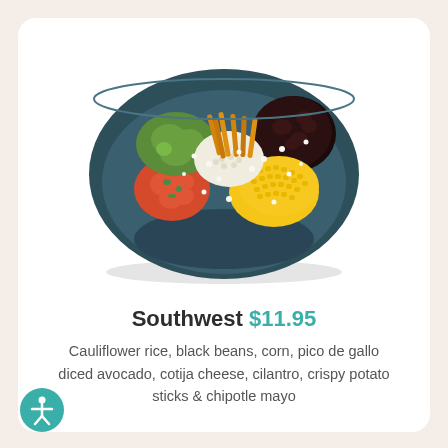[Figure (photo): A dark navy ceramic bowl filled with a colorful Southwest salad/grain bowl featuring cauliflower rice, black beans, corn, pico de gallo, diced avocado, cotija cheese, cilantro, and crispy potato sticks.]
Southwest $11.95
Cauliflower rice, black beans, corn, pico de gallo diced avocado, cotija cheese, cilantro, crispy potato sticks & chipotle mayo
[Figure (illustration): Accessibility icon — a circular teal button with a white human figure symbol (universal accessibility symbol).]